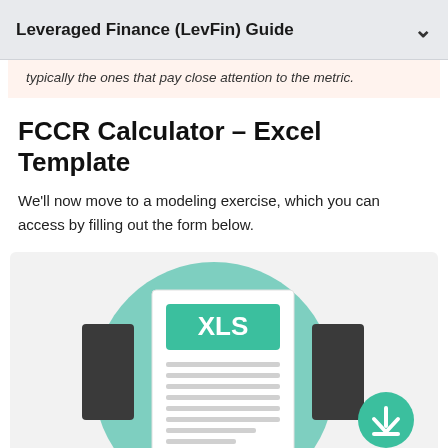Leveraged Finance (LevFin) Guide
typically the ones that pay close attention to the metric.
FCCR Calculator – Excel Template
We'll now move to a modeling exercise, which you can access by filling out the form below.
[Figure (illustration): Excel file icon (XLS label in green) displayed on a laptop/tablet screen with a teal circular background and a green download button in the bottom right corner]